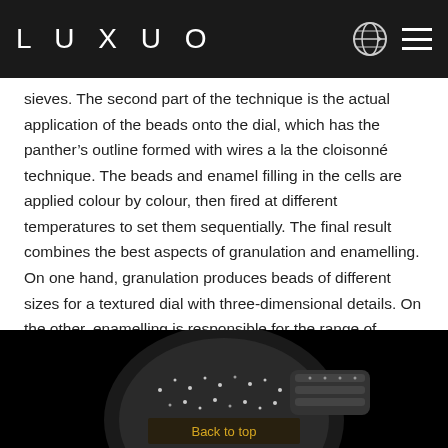LUXUO
sieves. The second part of the technique is the actual application of the beads onto the dial, which has the panther's outline formed with wires a la the cloisonné technique. The beads and enamel filling in the cells are applied colour by colour, then fired at different temperatures to set them sequentially. The final result combines the best aspects of granulation and enamelling. On one hand, granulation produces beads of different sizes for a textured dial with three-dimensional details. On the other, enamelling is responsible for the range of colours that gold alone cannot achieve.
[Figure (photo): Close-up photograph of a luxury diamond-encrusted watch on a black background, with a 'Back to top' button overlay]